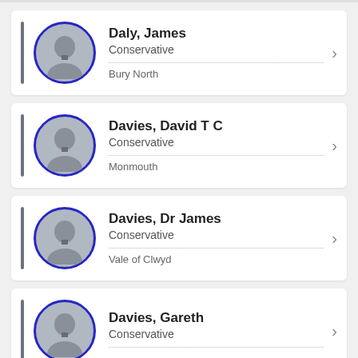Daly, James | Conservative | Bury North
Davies, David T C | Conservative | Monmouth
Davies, Dr James | Conservative | Vale of Clwyd
Davies, Gareth | Conservative